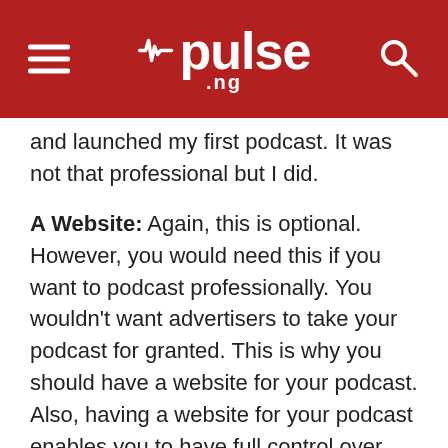pulse.ng
and launched my first podcast. It was not that professional but I did.
A Website: Again, this is optional. However, you would need this if you want to podcast professionally. You wouldn't want advertisers to take your podcast for granted. This is why you should have a website for your podcast. Also, having a website for your podcast enables you to have full control over your content and podcast.
How to Podcast.
Firstly, go ahead and create an account with either of the following: Soundcloud.com, Mixcloud.com or archive.org. I would advise you to go for soundcloud.com. This is because you can easily upload without editing to